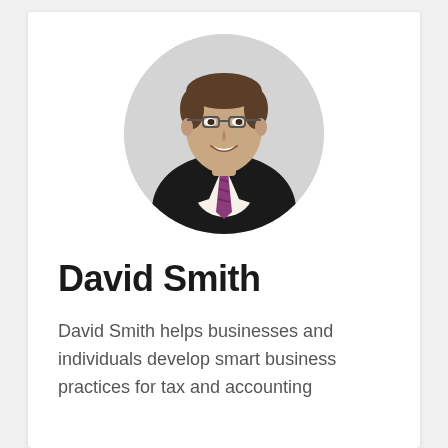[Figure (photo): Circular headshot of David Smith, a man in a dark suit with a striped purple tie, smiling, against a light grey circular background.]
David Smith
David Smith helps businesses and individuals develop smart business practices for tax and accounting